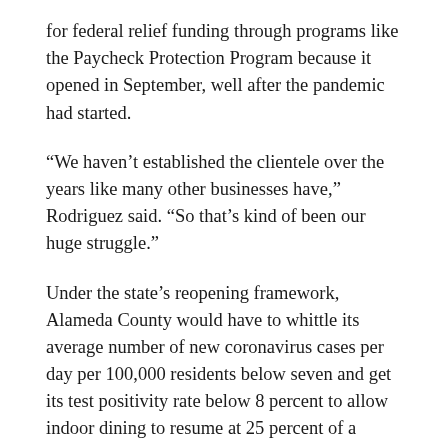for federal relief funding through programs like the Paycheck Protection Program because it opened in September, well after the pandemic had started.
“We haven’t established the clientele over the years like many other businesses have,” Rodriguez said. “So that’s kind of been our huge struggle.”
Under the state’s reopening framework, Alameda County would have to whittle its average number of new coronavirus cases per day per 100,000 residents below seven and get its test positivity rate below 8 percent to allow indoor dining to resume at 25 percent of a restaurant’s capacity or 100 people, whichever is fewer.